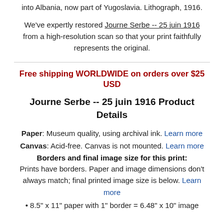into Albania, now part of Yugoslavia. Lithograph, 1916.
We've expertly restored Journe Serbe -- 25 juin 1916 from a high-resolution scan so that your print faithfully represents the original.
Free shipping WORLDWIDE on orders over $25 USD
Journe Serbe -- 25 juin 1916 Product Details
Paper: Museum quality, using archival ink. Learn more
Canvas: Acid-free. Canvas is not mounted. Learn more
Borders and final image size for this print:
Prints have borders. Paper and image dimensions don't always match; final printed image size is below. Learn more
• 8.5" x 11" paper with 1" border = 6.48" x 10" image